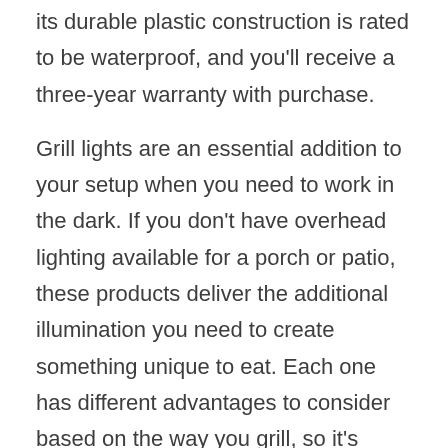its durable plastic construction is rated to be waterproof, and you'll receive a three-year warranty with purchase.
Grill lights are an essential addition to your setup when you need to work in the dark. If you don't have overhead lighting available for a porch or patio, these products deliver the additional illumination you need to create something unique to eat. Each one has different advantages to consider based on the way you grill, so it's essential to review the features of each one carefully to ensure the product gets the job done.